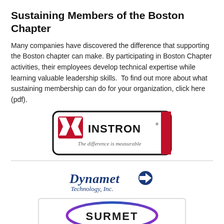Sustaining Members of the Boston Chapter
Many companies have discovered the difference that supporting the Boston chapter can make. By participating in Boston Chapter activities, their employees develop technical expertise while learning valuable leadership skills.  To find out more about what sustaining membership can do for your organization, click here (pdf).
[Figure (logo): Instron logo with red X figure icon, company name 'INSTRON' in bold black, registered trademark symbol, and tagline 'The difference is measurable' in italic serif font. Red vertical bar on right side. Black rounded rectangle border.]
[Figure (logo): Dynamet Technology, Inc. logo with italic bold blue text 'Dynamet' and a blue circular arrow icon, and subtitle 'Technology, Inc.' in italic blue text below.]
[Figure (logo): Surmet logo inside a light gray bordered rectangle, showing an oval/ellipse design with 'SURMET' text in bold letters with purple/blue arc above.]